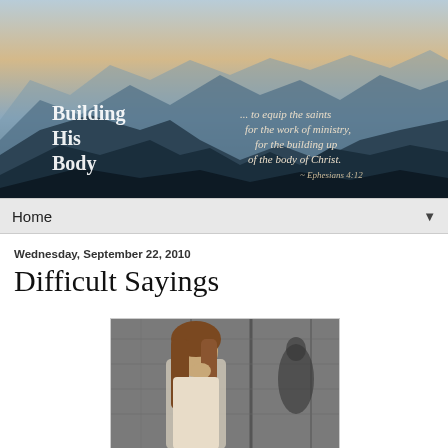[Figure (illustration): Blog header banner showing mountain landscape at dusk with blue-gray mountains receding into distance. Text overlay on left reads 'Building His Body' in white serif font. Text overlay on right reads '... to equip the saints for the work of ministry, for the building up of the body of Christ. ~ Ephesians 4:12' in white italic serif font.]
Home ▼
Wednesday, September 22, 2010
Difficult Sayings
[Figure (photo): Black and white photo of a young woman with long hair, hand raised near her face/mouth, standing in front of what appears to be wooden planks or a door. A shadow is visible on the right side of the image.]